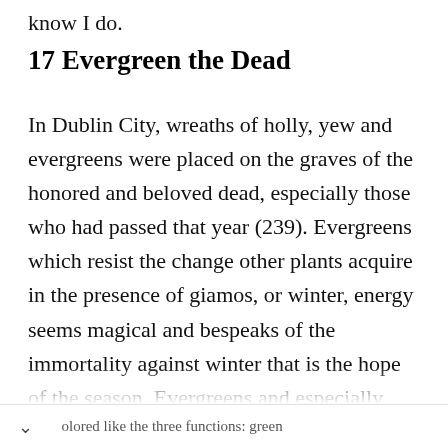know I do.
17 Evergreen the Dead
In Dublin City, wreaths of holly, yew and evergreens were placed on the graves of the honored and beloved dead, especially those who had passed that year (239). Evergreens which resist the change other plants acquire in the presence of giamos, or winter, energy seems magical and bespeaks of the immortality against winter that is the hope of the season. Evergreens and especially holly colored like the three functions: green